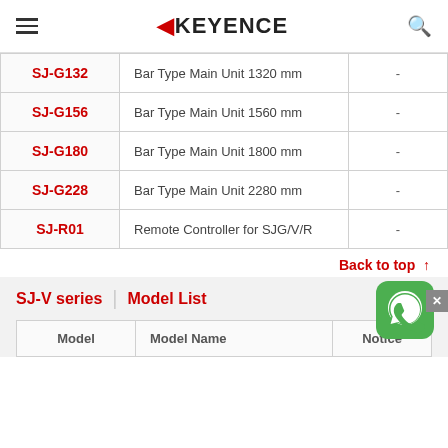KEYENCE
| Model | Model Name | Notice |
| --- | --- | --- |
| SJ-G132 | Bar Type Main Unit 1320 mm | - |
| SJ-G156 | Bar Type Main Unit 1560 mm | - |
| SJ-G180 | Bar Type Main Unit 1800 mm | - |
| SJ-G228 | Bar Type Main Unit 2280 mm | - |
| SJ-R01 | Remote Controller for SJG/V/R | - |
Back to top ↑
SJ-V series | Model List
| Model | Model Name | Notice |
| --- | --- | --- |